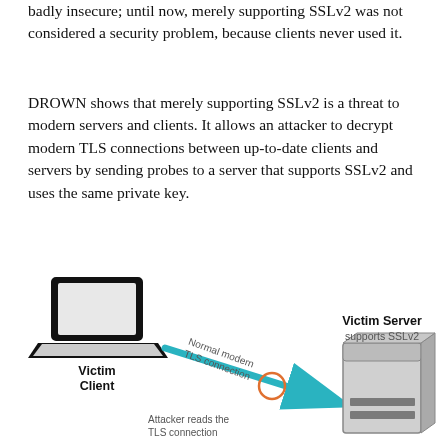badly insecure; until now, merely supporting SSLv2 was not considered a security problem, because clients never used it.
DROWN shows that merely supporting SSLv2 is a threat to modern servers and clients. It allows an attacker to decrypt modern TLS connections between up-to-date clients and servers by sending probes to a server that supports SSLv2 and uses the same private key.
[Figure (infographic): Diagram showing a Victim Client (laptop icon) connected to a Victim Server (server icon) via a 'Normal modern TLS connection' arrow (teal/blue). An attacker intercepts the connection, shown by an orange circle on the arrow with label 'Attacker reads the TLS connection'.]